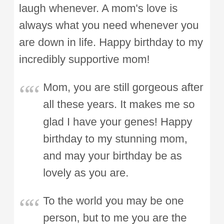laugh whenever. A mom's love is always what you need whenever you are down in life. Happy birthday to my incredibly supportive mom!
Mom, you are still gorgeous after all these years. It makes me so glad I have your genes! Happy birthday to my stunning mom, and may your birthday be as lovely as you are.
To the world you may be one person, but to me you are the